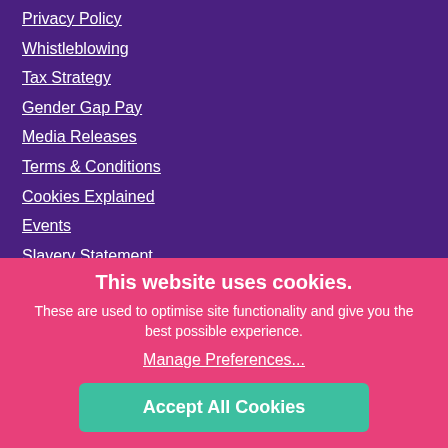Privacy Policy
Whistleblowing
Tax Strategy
Gender Gap Pay
Media Releases
Terms & Conditions
Cookies Explained
Events
Slavery Statement
Information for children
This website uses cookies.
These are used to optimise site functionality and give you the best possible experience.
Manage Preferences...
Accept All Cookies